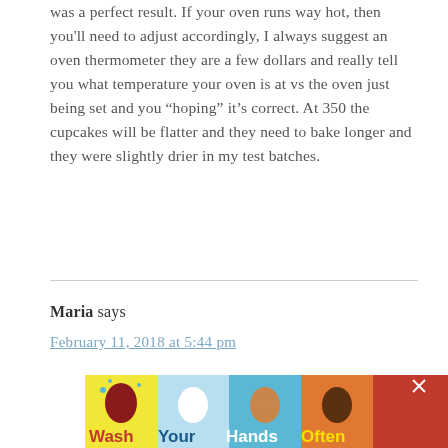was a perfect result. If your oven runs way hot, then you'll need to adjust accordingly, I always suggest an oven thermometer they are a few dollars and really tell you what temperature your oven is at vs the oven just being set and you "hoping" it's correct. At 350 the cupcakes will be flatter and they need to bake longer and they were slightly drier in my test batches.
Maria says
February 11, 2018 at 5:44 pm
[Figure (infographic): Wash Your Hands Often public health advertisement banner with colorful hand-washing illustration]